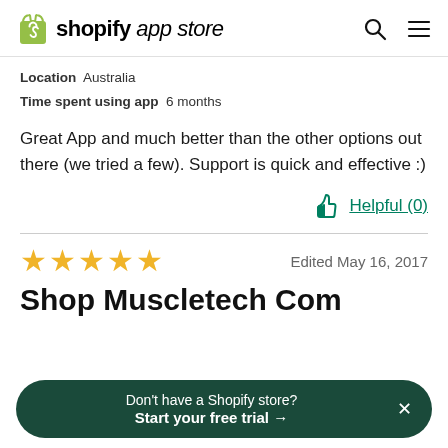shopify app store
Location  Australia
Time spent using app  6 months
Great App and much better than the other options out there (we tried a few). Support is quick and effective :)
Helpful (0)
★★★★★  Edited May 16, 2017
Shop Muscletech Com
Don't have a Shopify store? Start your free trial →